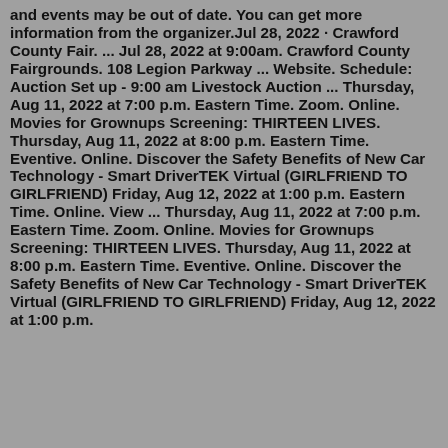and events may be out of date. You can get more information from the organizer.Jul 28, 2022 · Crawford County Fair. ... Jul 28, 2022 at 9:00am. Crawford County Fairgrounds. 108 Legion Parkway ... Website. Schedule: Auction Set up - 9:00 am Livestock Auction ... Thursday, Aug 11, 2022 at 7:00 p.m. Eastern Time. Zoom. Online. Movies for Grownups Screening: THIRTEEN LIVES. Thursday, Aug 11, 2022 at 8:00 p.m. Eastern Time. Eventive. Online. Discover the Safety Benefits of New Car Technology - Smart DriverTEK Virtual (GIRLFRIEND TO GIRLFRIEND) Friday, Aug 12, 2022 at 1:00 p.m. Eastern Time. Online. View ... Thursday, Aug 11, 2022 at 7:00 p.m. Eastern Time. Zoom. Online. Movies for Grownups Screening: THIRTEEN LIVES. Thursday, Aug 11, 2022 at 8:00 p.m. Eastern Time. Eventive. Online. Discover the Safety Benefits of New Car Technology - Smart DriverTEK Virtual (GIRLFRIEND TO GIRLFRIEND) Friday, Aug 12, 2022 at 1:00 p.m.